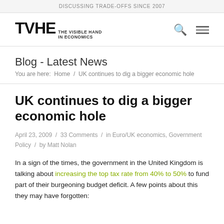DISCUSSING TRADE-OFFS SINCE 2007
TVHE THE VISIBLE HAND IN ECONOMICS
Blog - Latest News
You are here:  Home  /  UK continues to dig a bigger economic hole
UK continues to dig a bigger economic hole
April 23, 2009  /  33 Comments  /  in Euro/UK economics, Government Policy  /  by Matt Nolan
In a sign of the times, the government in the United Kingdom is talking about increasing the top tax rate from 40% to 50% to fund part of their burgeoning budget deficit. A few points about this they may have forgotten: